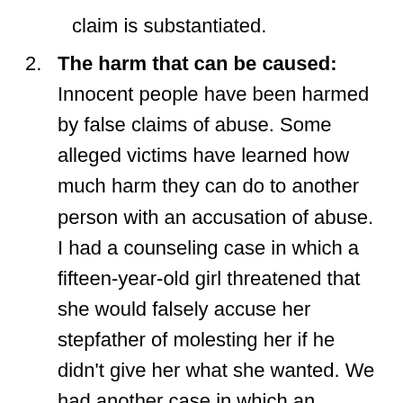claim is substantiated.
The harm that can be caused: Innocent people have been harmed by false claims of abuse. Some alleged victims have learned how much harm they can do to another person with an accusation of abuse. I had a counseling case in which a fifteen-year-old girl threatened that she would falsely accuse her stepfather of molesting her if he didn't give her what she wanted. We had another case in which an alleged victim had someone else scratch up her face so that she could call the police and accuse an innocent party